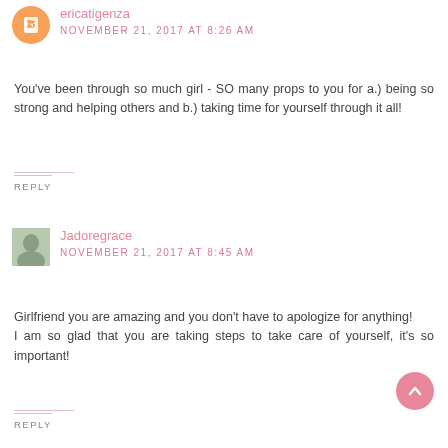ericatigenza
NOVEMBER 21, 2017 AT 8:26 AM
You've been through so much girl - SO many props to you for a.) being so strong and helping others and b.) taking time for yourself through it all!
REPLY
Jadoregrace
NOVEMBER 21, 2017 AT 8:45 AM
Girlfriend you are amazing and you don't have to apologize for anything!
I am so glad that you are taking steps to take care of yourself, it's so important!
REPLY